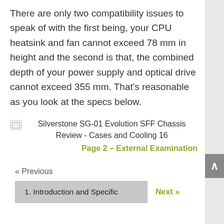There are only two compatibility issues to speak of with the first being, your CPU heatsink and fan cannot exceed 78 mm in height and the second is that, the combined depth of your power supply and optical drive cannot exceed 355 mm. That's reasonable as you look at the specs below.
[Figure (photo): Broken image placeholder for Silverstone SG-01 Evolution SFF Chassis Review - Cases and Cooling 16]
Silverstone SG-01 Evolution SFF Chassis Review - Cases and Cooling 16
Page 2 – External Examination
« Previous
1. Introduction and Specific
Next »